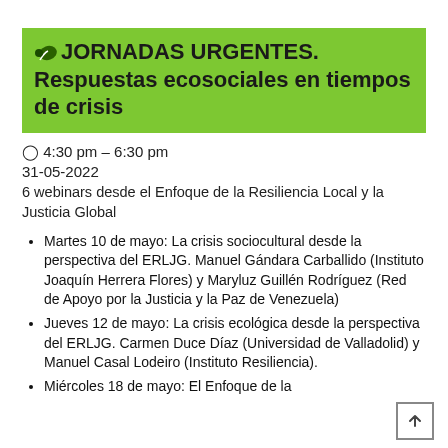🌿 JORNADAS URGENTES. Respuestas ecosociales en tiempos de crisis
⏰ 4:30 pm – 6:30 pm
31-05-2022
6 webinars desde el Enfoque de la Resiliencia Local y la Justicia Global
Martes 10 de mayo: La crisis sociocultural desde la perspectiva del ERLJG. Manuel Gándara Carballido (Instituto Joaquín Herrera Flores) y Maryluz Guillén Rodríguez (Red de Apoyo por la Justicia y la Paz de Venezuela)
Jueves 12 de mayo: La crisis ecológica desde la perspectiva del ERLJG. Carmen Duce Díaz (Universidad de Valladolid) y Manuel Casal Lodeiro (Instituto Resiliencia).
Miércoles 18 de mayo: El Enfoque de la…